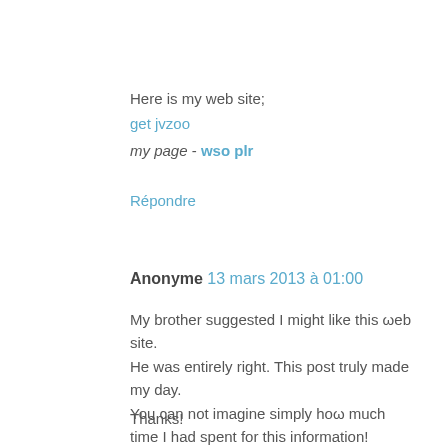Here is my web site;
get jvzoo
my page - wso plr
Répondre
Anonyme  13 mars 2013 à 01:00
My brother suggested I might like this ωeb site. He was entirely right. This post truly made my day. You can not imagine simply hoω much time I had spent for this information!

Thanks!
Here is my website: get ripped abs fast exercises
Répondre
Anonyme  13 mars 2013 à 01:33